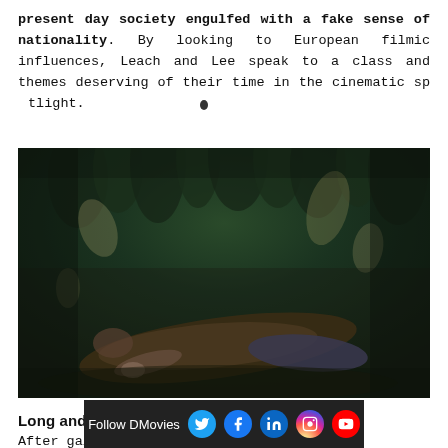present day society engulfed with a fake sense of nationality. By looking to European filmic influences, Leach and Lee speak to a class and themes deserving of their time in the cinematic spotlight.
[Figure (photo): Dark, moody aerial or overhead photograph of a person lying in a dense pine/conifer forest. The forest is dark green and the person is wearing dark brown/earth-toned clothing, blending into the forest floor.]
Long and winding country road
After gaining Screen Interna…
Follow DMovies [Twitter] [Facebook] [LinkedIn] [Instagram] [YouTube]